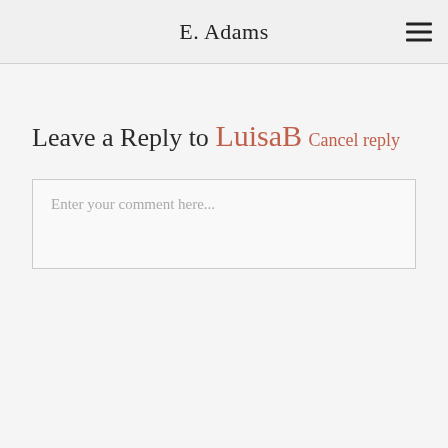E. Adams
Leave a Reply to LuisaB Cancel reply
Enter your comment here...